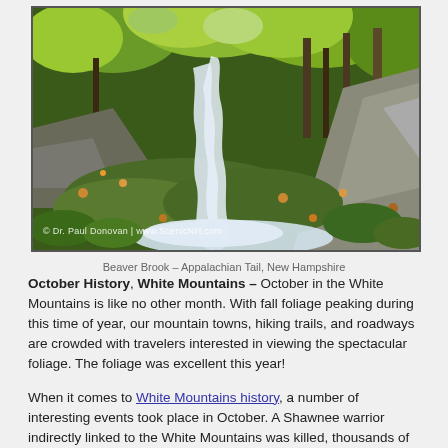[Figure (photo): Beaver Brook waterfall cascading over mossy rocks with autumn foliage, Appalachian Trail, New Hampshire. Photo credit: Dr. Paul Donovan | www.ScenicNH.com]
Beaver Brook – Appalachian Tail, New Hampshire
October History, White Mountains – October in the White Mountains is like no other month. With fall foliage peaking during this time of year, our mountain towns, hiking trails, and roadways are crowded with travelers interested in viewing the spectacular foliage. The foliage was excellent this year!
When it comes to White Mountains history, a number of interesting events took place in October. A Shawnee warrior indirectly linked to the White Mountains was killed, thousands of acres of land was